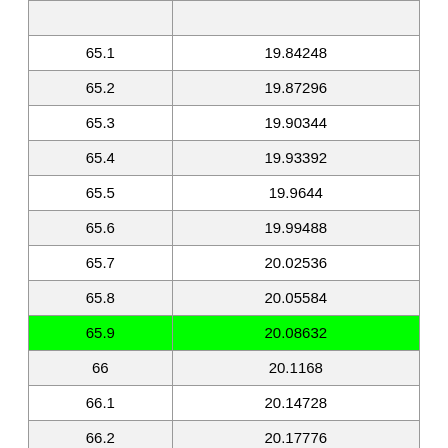| 65.1 | 19.84248 |
| 65.2 | 19.87296 |
| 65.3 | 19.90344 |
| 65.4 | 19.93392 |
| 65.5 | 19.9644 |
| 65.6 | 19.99488 |
| 65.7 | 20.02536 |
| 65.8 | 20.05584 |
| 65.9 | 20.08632 |
| 66 | 20.1168 |
| 66.1 | 20.14728 |
| 66.2 | 20.17776 |
| 66.3 | 20.20824 |
| 66.4 | 20.23872 |
| 66.5 | 20.2692 |
| 66.6 | 20.29968 |
| 66.7 | 20.33016 |